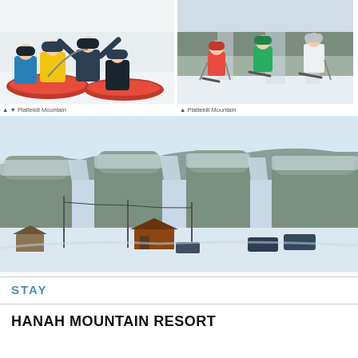[Figure (photo): Two people on red snow tubes sliding down a hill at Plattekill Mountain, arms raised, wearing colorful winter gear]
[Figure (photo): Three skiers standing at the top of a snowy slope at Plattekill Mountain, mountains visible in background]
▲ ▼ Plattekill Mountain
▲ Plattekill Mountain
[Figure (photo): Wide panoramic view of Plattekill Mountain ski slopes in winter, showing multiple ski runs cut through snow-covered forest, lodge and parking lot visible at base]
STAY
HANAH MOUNTAIN RESORT